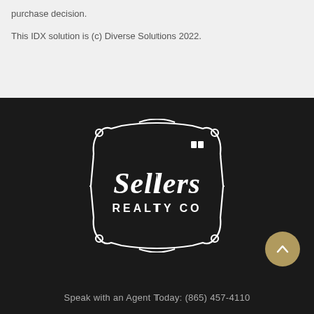purchase decision.
This IDX solution is (c) Diverse Solutions 2022.
[Figure (logo): Sellers Realty Co logo — white ornate badge shape on dark background with 'Sellers REALTY CO' text and a small Realtor logo mark]
Speak with an Agent Today: (865) 457-4110